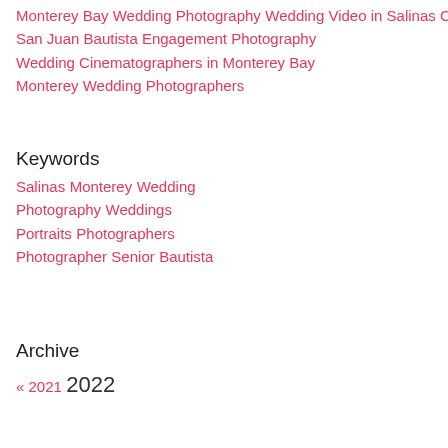Monterey Bay Wedding Photography
Wedding Video in Salinas CA
San Juan Bautista Engagement Photography
Wedding Cinematographers in Monterey Bay
Monterey Wedding Photographers
Keywords
Salinas
Monterey
Wedding
Photography
Weddings
Portraits
Photographers
Photographer
Senior
Bautista
Archive
« 2021  2022